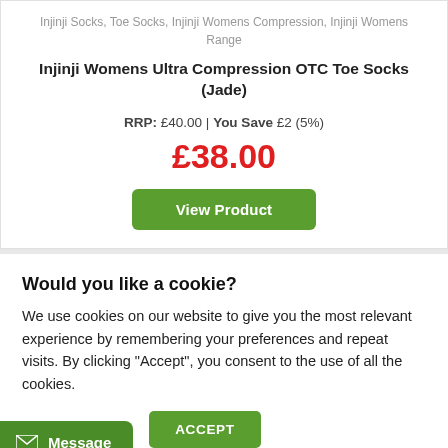Injinji Socks, Toe Socks, Injinji Womens Compression, Injinji Womens Range
Injinji Womens Ultra Compression OTC Toe Socks (Jade)
RRP: £40.00 | You Save £2 (5%)
£38.00
View Product
Would you like a cookie?
We use cookies on our website to give you the most relevant experience by remembering your preferences and repeat visits. By clicking "Accept", you consent to the use of all the cookies.
Cookie settings
ACCEPT
Message